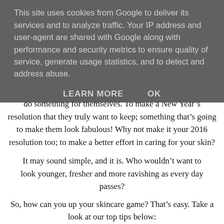This site uses cookies from Google to deliver its services and to analyze traffic. Your IP address and user-agent are shared with Google along with performance and security metrics to ensure quality of service, generate usage statistics, and to detect and address abuse.
LEARN MORE   OK
do something for themselves. To make a New Year's resolution that they truly want to keep; something that's going to make them look fabulous! Why not make it your 2016 resolution too; to make a better effort in caring for your skin?
It may sound simple, and it is. Who wouldn't want to look younger, fresher and more ravishing as every day passes?
So, how can you up your skincare game? That's easy. Take a look at our top tips below:
Wear Sunscreen Every Day
With the rain and wind we have here most days in good old Blighty, lathering on sunscreen may make you chuckle. But whether you realise it or not, the sun (however hidden it may be) dries out your skin and according to dermatologists at the Skin Cancer Foundation and UVA of visible light entering dermatologists...